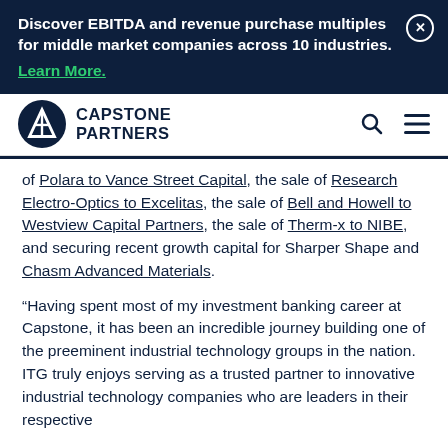Discover EBITDA and revenue purchase multiples for middle market companies across 10 industries. Learn More.
CAPSTONE PARTNERS
of Polara to Vance Street Capital, the sale of Research Electro-Optics to Excelitas, the sale of Bell and Howell to Westview Capital Partners, the sale of Therm-x to NIBE, and securing recent growth capital for Sharper Shape and Chasm Advanced Materials.
“Having spent most of my investment banking career at Capstone, it has been an incredible journey building one of the preeminent industrial technology groups in the nation. ITG truly enjoys serving as a trusted partner to innovative industrial technology companies who are leaders in their respective